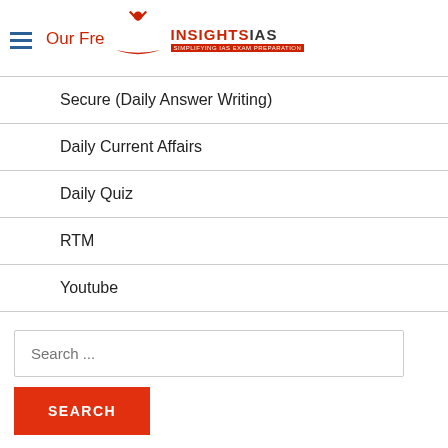[Figure (logo): InsightsIAS logo with open book and tagline 'Simplifying IAS Exam Preparation']
Secure (Daily Answer Writing)
Daily Current Affairs
Daily Quiz
RTM
Youtube
Search ...
SEARCH